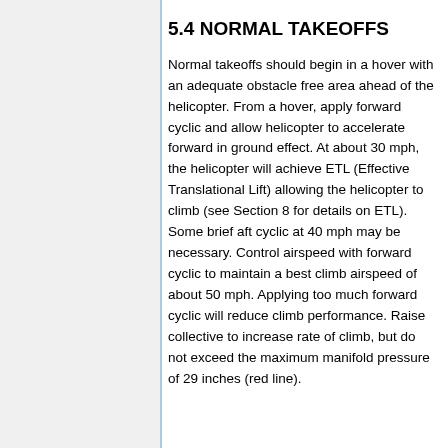5.4 NORMAL TAKEOFFS
Normal takeoffs should begin in a hover with an adequate obstacle free area ahead of the helicopter. From a hover, apply forward cyclic and allow helicopter to accelerate forward in ground effect. At about 30 mph, the helicopter will achieve ETL (Effective Translational Lift) allowing the helicopter to climb (see Section 8 for details on ETL). Some brief aft cyclic at 40 mph may be necessary. Control airspeed with forward cyclic to maintain a best climb airspeed of about 50 mph. Applying too much forward cyclic will reduce climb performance. Raise collective to increase rate of climb, but do not exceed the maximum manifold pressure of 29 inches (red line).